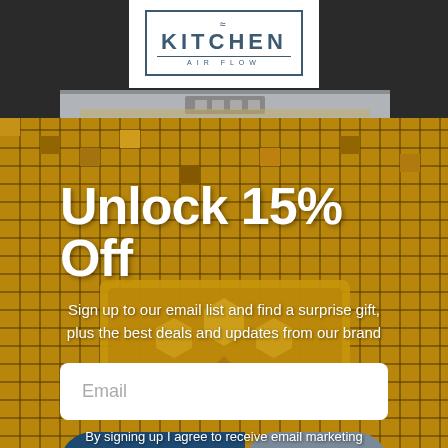[Figure (photo): Kitchen range hood with gold mosaic tile backsplash, serving as page background]
[Figure (logo): Kitchen Air Flow logo: tilde symbol above KITCHEN text with AIR FLOW below, in bordered box, white background]
Unlock 15% Off
Sign up to our email list and find a surprise gift, plus the best deals and updates from our brand
Email
Unlock Now
Chat with us
By signing up I agree to receive email marketing